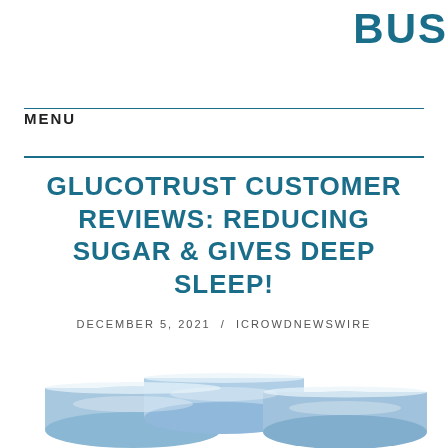BUS
MENU
GLUCOTRUST CUSTOMER REVIEWS: REDUCING SUGAR & GIVES DEEP SLEEP!
DECEMBER 5, 2021  /  ICROWDNEWSWIRE
[Figure (photo): Three blue capsule/pill supplement containers lined up, cropped at bottom of page]